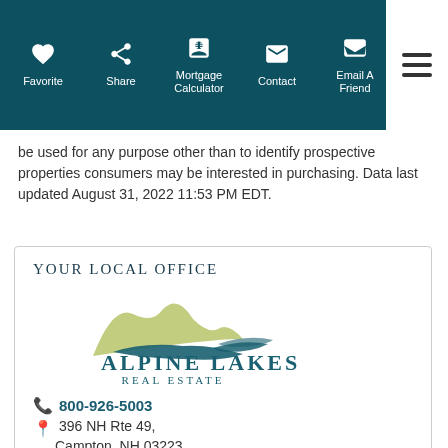Favorite | Share | Mortgage Calculator | Contact | Email A Friend
be used for any purpose other than to identify prospective properties consumers may be interested in purchasing. Data last updated August 31, 2022 11:53 PM EDT.
YOUR LOCAL OFFICE
[Figure (logo): Alpine Lakes Real Estate logo with mountain and lake illustration in olive green and teal, with text ALPINE LAKES REAL ESTATE]
800-926-5003
396 NH Rte 49, Campton, NH 03223